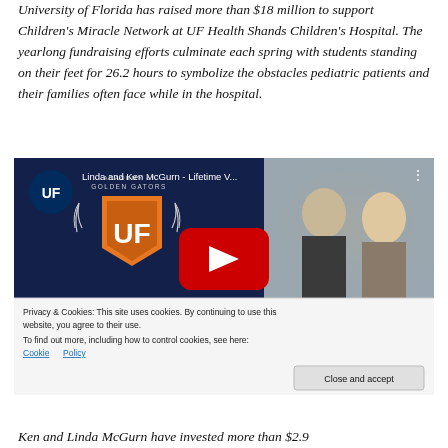University of Florida has raised more than $18 million to support Children's Miracle Network at UF Health Shands Children's Hospital. The yearlong fundraising efforts culminate each spring with students standing on their feet for 26.2 hours to symbolize the obstacles pediatric patients and their families often face while in the hospital.
[Figure (screenshot): YouTube video embed thumbnail showing UF logo circle, Academy of Golden Gators shield, video title 'Linda and Ken McGurn - Lifetime V...' with a couple in the background, red YouTube play button, and a cookie consent bar below with 'Close and accept' button.]
Ken and Linda McGurn have invested more than $2.9